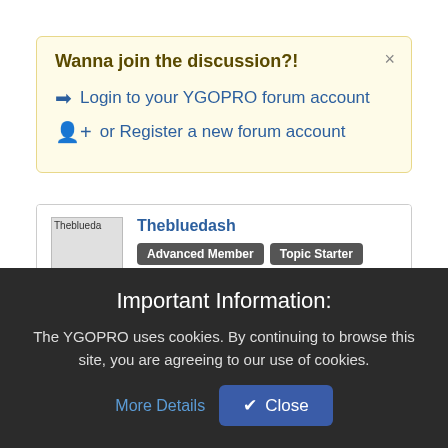Wanna join the discussion?!
➡ Login to your YGOPRO forum account
👤+ or Register a new forum account
Thebluedash — Advanced Member, Topic Starter
7 years ago #2
Important Information:
The YGOPRO uses cookies. By continuing to browse this site, you are agreeing to our use of cookies.
More Details
✓ Close